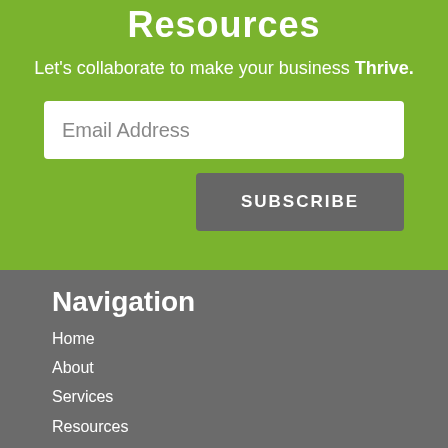Resources
Let's collaborate to make your business Thrive.
Email Address
SUBSCRIBE
Navigation
Home
About
Services
Resources